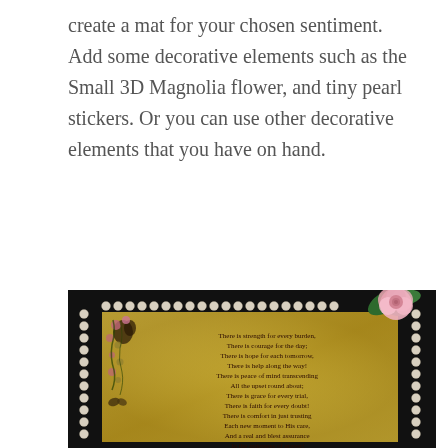create a mat for your chosen sentiment. Add some decorative elements such as the Small 3D Magnolia flower, and tiny pearl stickers. Or you can use other decorative elements that you have on hand.
[Figure (photo): A framed decorative card with pearl border and a pink rose in the top right corner. The card features floral decorations on the left side and a poem text on an aged golden-yellow background. The poem reads: There is strength for every burden, There is courage for the day; There is hope for each tomorrow, There is help along the way! There is peace of mind transcending All the upset round about; There is grace for every trial, There is faith for every doubt! There is comfort in just trusting Each new moment to His care, And a real and blest assurance In the quietness of prayer!]